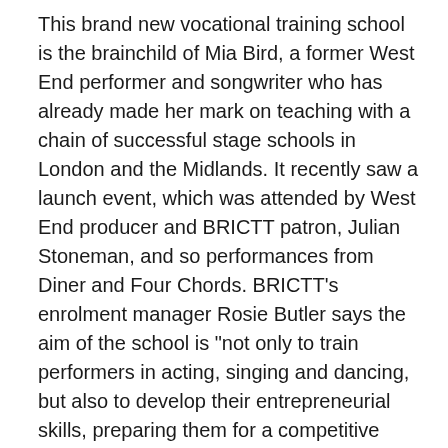This brand new vocational training school is the brainchild of Mia Bird, a former West End performer and songwriter who has already made her mark on teaching with a chain of successful stage schools in London and the Midlands. It recently saw a launch event, which was attended by West End producer and BRICTT patron, Julian Stoneman, and so performances from Diner and Four Chords. BRICTT's enrolment manager Rosie Butler says the aim of the school is "not only to train performers in acting, singing and dancing, but also to develop their entrepreneurial skills, preparing them for a competitive world where having mental resilience and the ability to generate work are essential attributes, often overlooked at drama school." That shared focus on developing talent while also encouraging students to take control of their careers is embedded in both the three-year BA (hons) degree in performing arts for those aged 18 and over, and the twoyear, Level 3 diploma in musical theatre aimed at 16 to 18-year-olds.